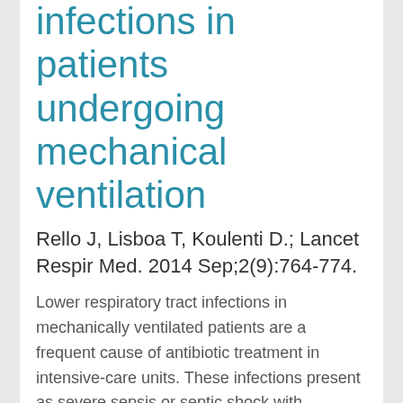Infections in patients undergoing mechanical ventilation
Rello J, Lisboa T, Koulenti D.; Lancet Respir Med. 2014 Sep;2(9):764-774.
Lower respiratory tract infections in mechanically ventilated patients are a frequent cause of antibiotic treatment in intensive-care units. These infections present as severe sepsis or septic shock with respiratory dysfunction in intubated patients. Purulent respiratory secretions are needed for diagnosis, but distinguishing between pneumonia and tracheobronchitis is not easy...
Read more ...
2014 Sep